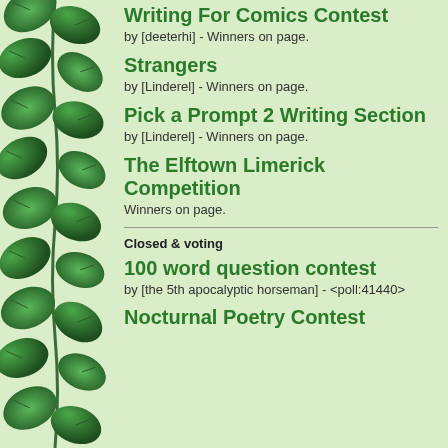[Figure (illustration): Vertical ivy vine border on the left side of the page]
Writing For Comics Contest
by [deeterhi] - Winners on page.
Strangers
by [Linderel] - Winners on page.
Pick a Prompt 2 Writing Section
by [Linderel] - Winners on page.
The Elftown Limerick Competition
Winners on page.
Closed & voting
100 word question contest
by [the 5th apocalyptic horseman] - <poll:41440>
Nocturnal Poetry Contest